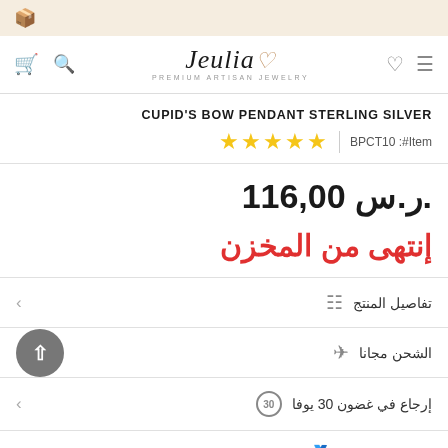Jeulia — PREMIUM ARTISAN JEWELRY
CUPID'S BOW PENDANT STERLING SILVER
★★★★★  |  Item#: BPCT10
116,00 ر.س.
إنتهى من المخزن
تفاصيل المنتج
الشحن مجانا
إرجاع في غضون 30 يوفا
ضمان لمدة عام